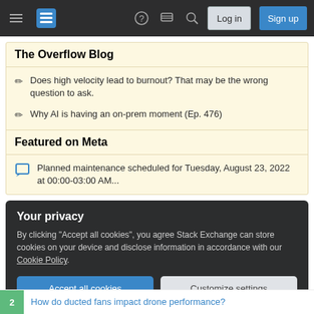Stack Overflow navigation bar with hamburger menu, logo, help, chat, search, Log in and Sign up buttons
The Overflow Blog
Does high velocity lead to burnout? That may be the wrong question to ask.
Why AI is having an on-prem moment (Ep. 476)
Featured on Meta
Planned maintenance scheduled for Tuesday, August 23, 2022 at 00:00-03:00 AM...
Your privacy
By clicking "Accept all cookies", you agree Stack Exchange can store cookies on your device and disclose information in accordance with our Cookie Policy.
Accept all cookies | Customize settings
2  How do ducted fans impact drone performance?